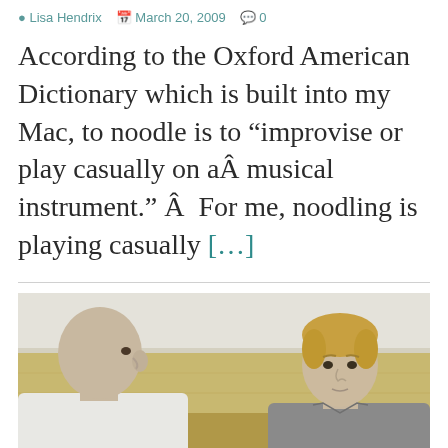Lisa Hendrix  March 20, 2009  0
According to the Oxford American Dictionary which is built into my Mac, to noodle is to “improvise or play casually on aÂ musical instrument.” Â  For me, noodling is playing casually […]
[Figure (photo): Two men standing outdoors in a dry field. The man on the left is bald and wearing a white shirt, seen in profile. The man on the right has short blond hair and is wearing a grey shirt, facing the camera.]